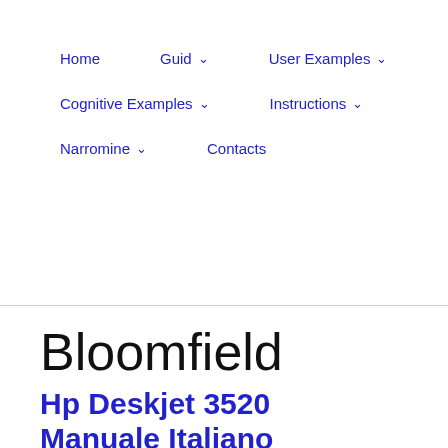Home   Guid ˅   User Examples ˅   Cognitive Examples ˅   Instructions ˅   Narromine ˅   Contacts
Bloomfield
Hp Deskjet 3520 Manuale Italiano